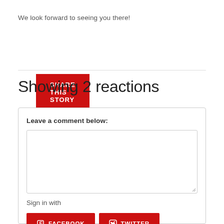We look forward to seeing you there!
SHARE THIS STORY
Showing 2 reactions
Leave a comment below:
Sign in with
FACEBOOK
TWITTER